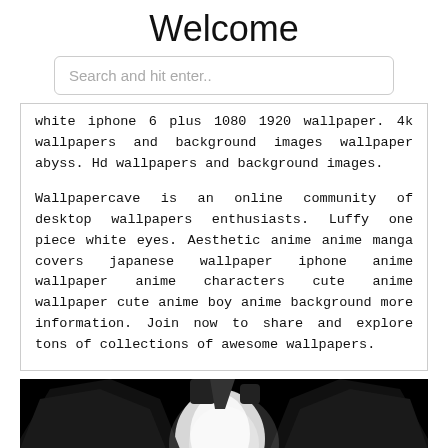Welcome
Search and hit enter..
white iphone 6 plus 1080 1920 wallpaper. 4k wallpapers and background images wallpaper abyss. Hd wallpapers and background images.
Wallpapercave is an online community of desktop wallpapers enthusiasts. Luffy one piece white eyes. Aesthetic anime anime manga covers japanese wallpaper iphone anime wallpaper anime characters cute anime wallpaper cute anime boy anime background more information. Join now to share and explore tons of collections of awesome wallpapers.
[Figure (photo): Black and white anime-style illustration showing silhouetted figure with white accents on black background]